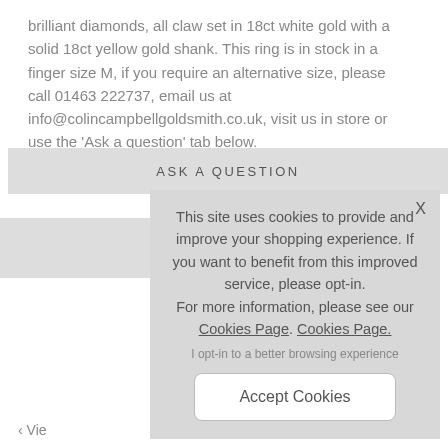brilliant diamonds, all claw set in 18ct white gold with a solid 18ct yellow gold shank. This ring is in stock in a finger size M, if you require an alternative size, please call 01463 222737, email us at info@colincampbellgoldsmith.co.uk, visit us in store or use the 'Ask a question' tab below.
ASK A QUESTION
This site uses cookies to provide and improve your shopping experience. If you want to benefit from this improved service, please opt-in.
For more information, please see our Cookies Page. Cookies Page.
I opt-in to a better browsing experience
Accept Cookies
‹ Vie